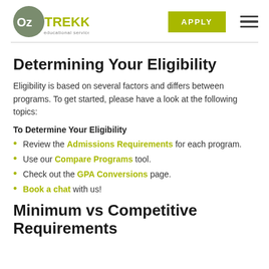OzTREKK educational services | APPLY
Determining Your Eligibility
Eligibility is based on several factors and differs between programs. To get started, please have a look at the following topics:
To Determine Your Eligibility
Review the Admissions Requirements for each program.
Use our Compare Programs tool.
Check out the GPA Conversions page.
Book a chat with us!
Minimum vs Competitive Requirements